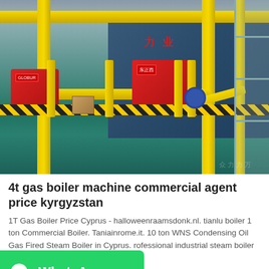[Figure (photo): Industrial gas boiler facility showing large blue cylindrical boilers with yellow piping, red burner units, yellow safety posts with hazard striping on floor, and scaffolding on the right side]
4t gas boiler machine commercial agent price kyrgyzstan
1T Gas Boiler Price Cyprus - halloweenraamsdonk.nl. tianlu boiler 1 ton Commercial Boiler. Taniainrome.it. 10 ton WNS Condensing Oil Gas Fired Steam Boiler in Cyprus. rofessional industrial steam boiler and...
[Figure (other): WhatsApp green button with WhatsApp logo and text 'WhatsApp']
Get Price